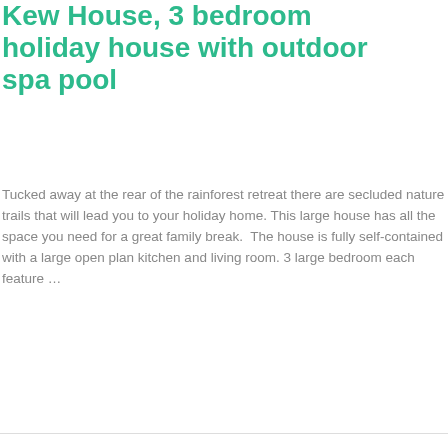Kew House, 3 bedroom holiday house with outdoor spa pool
Tucked away at the rear of the rainforest retreat there are secluded nature trails that will lead you to your holiday home. This large house has all the space you need for a great family break.  The house is fully self-contained with a large open plan kitchen and living room. 3 large bedroom each feature …
Read More »